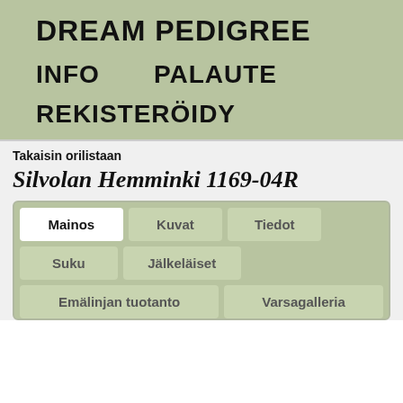DREAM PEDIGREE
INFO    PALAUTE
REKISTERÖIDY
Takaisin orilistaan
Silvolan Hemminki 1169-04R
| Mainos | Kuvat | Tiedot |  |
| --- | --- | --- | --- |
| Suku | Jälkeläiset |  |  |
| Emälinjan tuotanto |  | Varsagalleria |  |